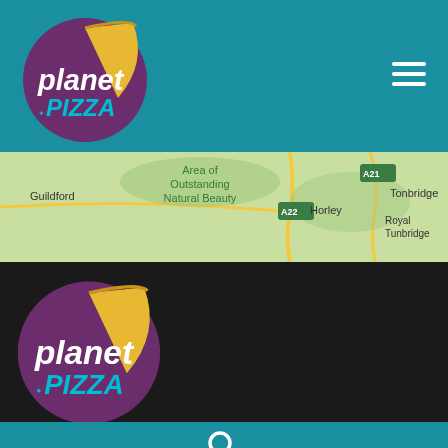[Figure (logo): Planet Pizza logo — purple circle with yellow pizza slice, white text 'planet' and teal 'PIZZA']
[Figure (map): Google Maps section showing Guildford, Area of Outstanding Natural Beauty, Horley, A21, A22, Tonbridge, Royal Tunbridge area]
[Figure (logo): Planet Pizza logo repeated in footer — dark background, same purple circle with yellow slice and white/teal text]
[Figure (other): Search magnifying glass icon in teal footer bar at bottom]